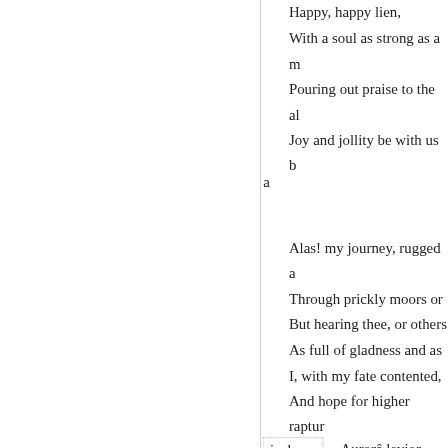Happy, happy lien,
With a soul as strong as a m
Pouring out praise to the al
Joy and jollity be with us b
a
Alas! my journey, rugged a
Through prickly moors or
But hearing thee, or others
As full of gladness and as
I, with my fate contented,
And hope for higher raptur
is done.
Aurorâ levior, læti
Cum risu volitas :
Est cum conjuge nidus :
Nolles quas ego prosequi
Errabunda vias, strenua qu
Felix ! montivago flumine
Gratas omnipotenti
Laudes rite canis Deo.